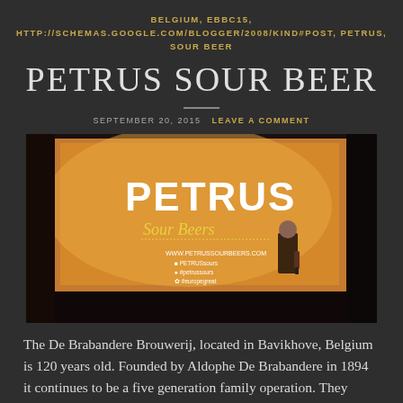BELGIUM, EBBC15, HTTP://SCHEMAS.GOOGLE.COM/BLOGGER/2008/KIND#POST, PETRUS, SOUR BEER
PETRUS SOUR BEER
SEPTEMBER 20, 2015   LEAVE A COMMENT
[Figure (photo): A person presenting in front of a large projected screen showing the Petrus Sour Beers logo. The screen has a warm amber/brown background with the word PETRUS in large bold letters and 'Sour Beers' in cursive below it, along with social media handles.]
The De Brabandere Brouwerij, located in Bavikhove, Belgium is 120 years old. Founded by Aldophe De Brabandere in 1894 it continues to be a five generation family operation. They pride